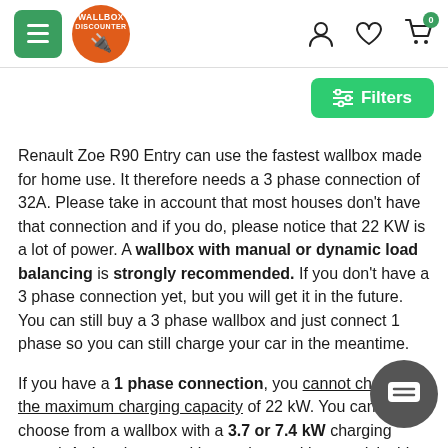Wallbox Discounter — navigation header with hamburger menu, logo, and icons
Filters
Renault Zoe R90 Entry can use the fastest wallbox made for home use. It therefore needs a 3 phase connection of 32A. Please take in account that most houses don't have that connection and if you do, please notice that 22 KW is a lot of power. A wallbox with manual or dynamic load balancing is strongly recommended. If you don't have a 3 phase connection yet, but you will get it in the future. You can still buy a 3 phase wallbox and just connect 1 phase so you can still charge your car in the meantime.
If you have a 1 phase connection, you cannot charge the maximum charging capacity of 22 kW. You can then choose from a wallbox with a 3.7 or 7.4 kW charging speed. A charging speed is very low and is not advisable. A 7.4 charging capacity is already better, but requires so m your 1 phase connection in your fuse box that we advise you